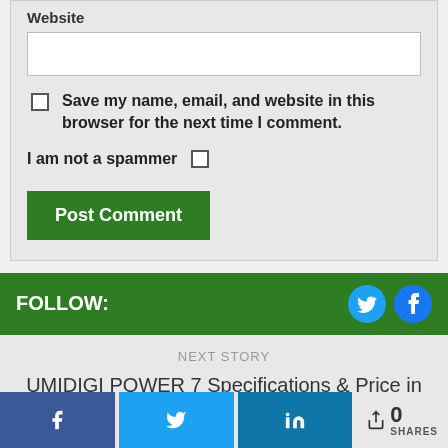Website
Save my name, email, and website in this browser for the next time I comment.
I am not a spammer
Post Comment
FOLLOW:
NEXT STORY
UMIDIGI POWER 7 Specifications & Price in
0 SHARES